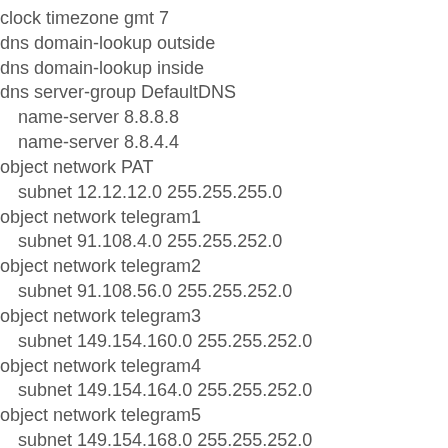clock timezone gmt 7
dns domain-lookup outside
dns domain-lookup inside
dns server-group DefaultDNS
name-server 8.8.8.8
name-server 8.8.4.4
object network PAT
subnet 12.12.12.0 255.255.255.0
object network telegram1
subnet 91.108.4.0 255.255.252.0
object network telegram2
subnet 91.108.56.0 255.255.252.0
object network telegram3
subnet 149.154.160.0 255.255.252.0
object network telegram4
subnet 149.154.164.0 255.255.252.0
object network telegram5
subnet 149.154.168.0 255.255.252.0
object network telegram6